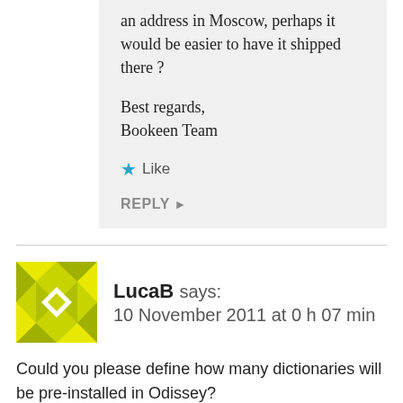an address in Moscow, perhaps it would be easier to have it shipped there ?
Best regards,
Bookeen Team
Like
REPLY ▶
LucaB says:
10 November 2011 at 0 h 07 min
Could you please define how many dictionaries will be pre-installed in Odissey?
Can the user install a dictionary of a certain language later?
One last thing: can the user write down some free